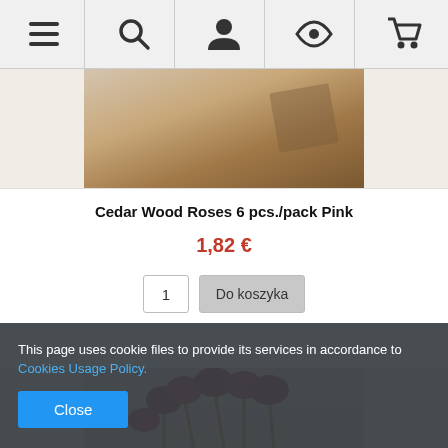[Figure (screenshot): Navigation bar with hamburger menu, search, user, eye/wishlist, and cart icons]
[Figure (photo): Top portion of product image showing cedar wood roses pink, partially cropped]
Cedar Wood Roses 6 pcs./pack Pink
1,82 €
1   Do koszyka
[Figure (photo): Dark red/burgundy cedar wood roses on stems against light grey background]
This page uses cookie files to provide its services in accordance to Cookies Usage Policy.
Close